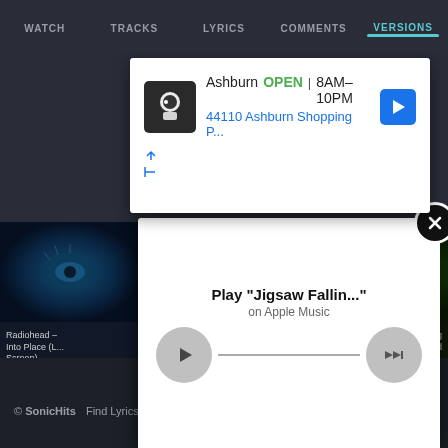WATCH | TRACKS | LYRICS | COMMENTS | VERSIONS
[Figure (screenshot): Advertisement banner: Ashburn OPEN 8AM-10PM, 44110 Ashburn Shopping P..., with navigation arrow icon]
[Figure (screenshot): Music player popup: Play button, progress line, volume button, title 'Play "Jigsaw Fallin..."' on Apple Music, with close X button]
Radiohead - Into Place (L... Screen) ★★★★★
...saw Falling ...a Ciudad Argentina - 83K
© SonicHits  Find Lyrics | About | Privacy